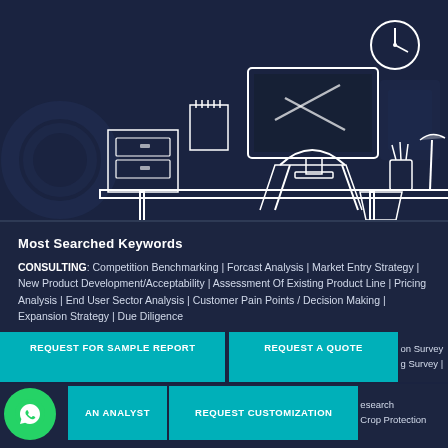[Figure (illustration): Line art illustration of a home office desk setup on dark navy background, showing a desktop monitor, desk lamp, filing cabinet, pencil holder, and a waste bin. A clock is visible top right. Background shows faint dollar bills and coins.]
Most Searched Keywords
CONSULTING: Competition Benchmarking | Forcast Analysis | Market Entry Strategy | New Product Development/Acceptability | Assessment Of Existing Product Line | Pricing Analysis | End User Sector Analysis | Customer Pain Points / Decision Making | Expansion Strategy | Due Diligence
REQUEST FOR SAMPLE REPORT
REQUEST A QUOTE
TALK TO AN ANALYST
REQUEST CUSTOMIZATION
BANKING FINANCIAL SERVICES AND INSURANCE: Remittance | Bill Payment